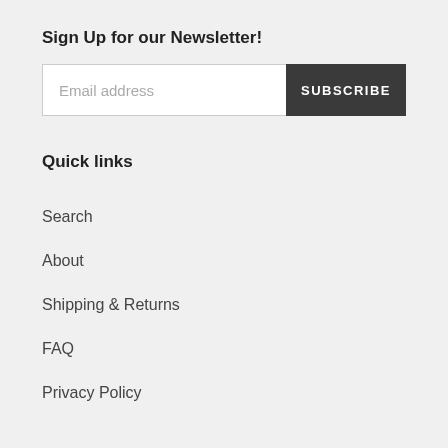Sign Up for our Newsletter!
Email address | SUBSCRIBE
Quick links
Search
About
Shipping & Returns
FAQ
Privacy Policy